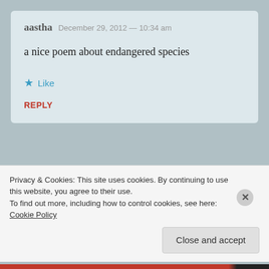aastha  December 29, 2012 — 10:34 am
a nice poem about endangered species
★ Like
REPLY
Privacy & Cookies: This site uses cookies. By continuing to use this website, you agree to their use.
To find out more, including how to control cookies, see here: Cookie Policy
Close and accept